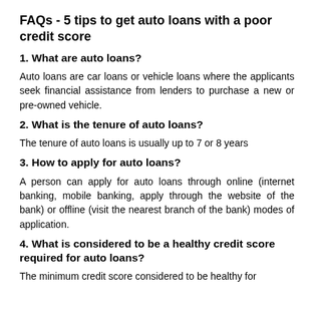FAQs - 5 tips to get auto loans with a poor credit score
1. What are auto loans?
Auto loans are car loans or vehicle loans where the applicants seek financial assistance from lenders to purchase a new or pre-owned vehicle.
2. What is the tenure of auto loans?
The tenure of auto loans is usually up to 7 or 8 years
3. How to apply for auto loans?
A person can apply for auto loans through online (internet banking, mobile banking, apply through the website of the bank) or offline (visit the nearest branch of the bank) modes of application.
4. What is considered to be a healthy credit score required for auto loans?
The minimum credit score considered to be healthy for